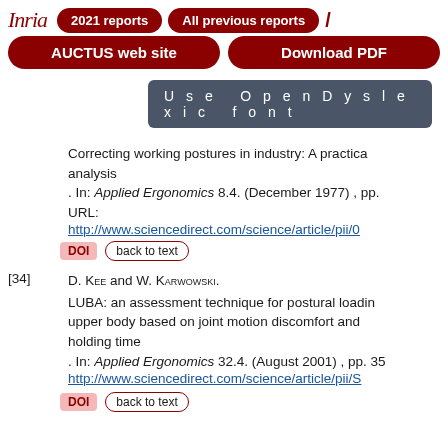Inria | 2021 reports | All previous reports
AUCTUS web site | Download PDF
Use OpenDyslexic font
Correcting working postures in industry: A practical analysis. In: Applied Ergonomics 8.4. (December 1977), pp. URL: http://www.sciencedirect.com/science/article/pii/0
DOI  back to text
[34] D. Kee and W. Karwowski. LUBA: an assessment technique for postural loading on the upper body based on joint motion discomfort and holding time. In: Applied Ergonomics 32.4. (August 2001), pp. 35 http://www.sciencedirect.com/science/article/pii/S
DOI  back to text